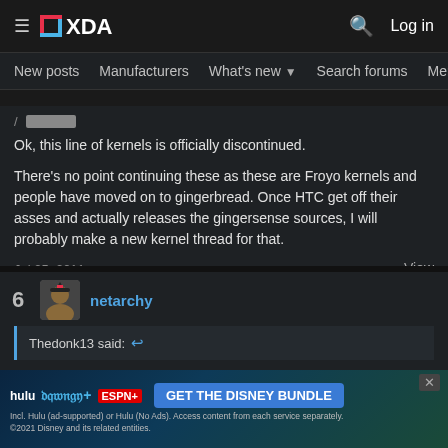XDA Forums - New posts | Manufacturers | What's new | Search forums | Members
Ok, this line of kernels is officially discontinued.

There's no point continuing these as these are Froyo kernels and people have moved on to gingerbread. Once HTC get off their asses and actually releases the gingersense sources, I will probably make a new kernel thread for that.
Jul 25, 2011
View
6 netarchy
Thedonk13 said:
Net, love the kernels btw! was curious if you plan on adding some code to the kernel to unlock the hidden clk speeds of our sd cards?? n... when I
[Figure (screenshot): Disney Bundle advertisement banner showing Hulu, Disney+, ESPN+ logos with GET THE DISNEY BUNDLE CTA button]